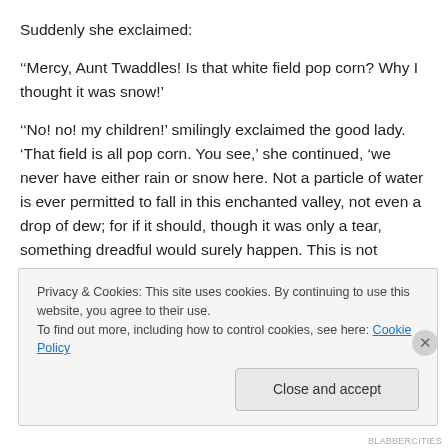Suddenly she exclaimed:
‘‘Mercy, Aunt Twaddles! Is that white field pop corn? Why I thought it was snow!’
‘‘No! no! my children!’ smilingly exclaimed the good lady. ‘That field is all pop corn. You see,’ she continued, ‘we never have either rain or snow here. Not a particle of water is ever permitted to fall in this enchanted valley, not even a drop of dew; for if it should, though it was only a tear, something dreadful would surely happen. This is not
Privacy & Cookies: This site uses cookies. By continuing to use this website, you agree to their use.
To find out more, including how to control cookies, see here: Cookie Policy
Close and accept